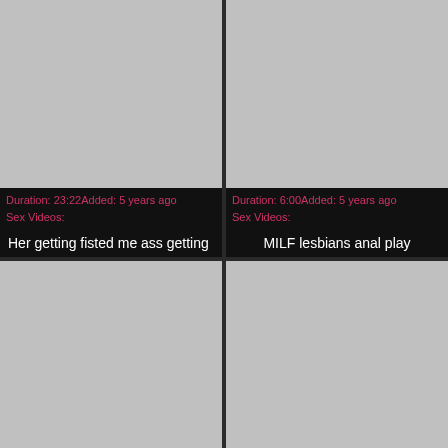[Figure (other): Gray thumbnail placeholder top left]
[Figure (other): Gray thumbnail placeholder top right]
Duration: 23:22Added: 5 years ago
Sex Videos:
Duration: 6:00Added: 5 years ago
Sex Videos:
Her getting fisted me ass getting
MILF lesbians anal play
[Figure (other): Gray thumbnail placeholder bottom left]
[Figure (other): Gray thumbnail placeholder bottom right]